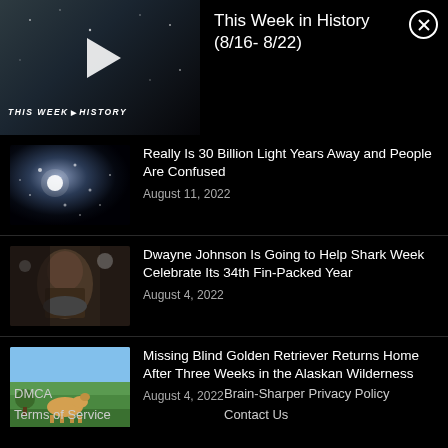[Figure (screenshot): Video thumbnail showing 'THIS WEEK IN HISTORY' with a play button overlay, dark background]
This Week in History (8/16- 8/22)
[Figure (photo): Space/stars image, dark with bright star clusters]
Really Is 30 Billion Light Years Away and People Are Confused
August 11, 2022
[Figure (photo): Dwayne Johnson in suit surrounded by crowd of fans]
Dwayne Johnson Is Going to Help Shark Week Celebrate Its 34th Fin-Packed Year
August 4, 2022
[Figure (photo): Golden retriever dog standing in green field under blue sky]
Missing Blind Golden Retriever Returns Home After Three Weeks in the Alaskan Wilderness
August 4, 2022
DMCA    Brain-Sharper Privacy Policy    Terms of Service    Contact Us